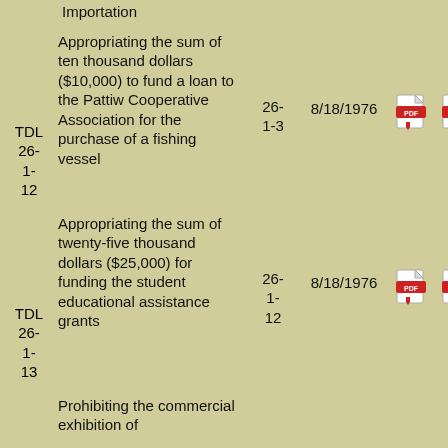Importation
| ID | Description | Ref | Date | Doc1 | Doc2 |
| --- | --- | --- | --- | --- | --- |
| TDL 26-1-12 | Appropriating the sum of ten thousand dollars ($10,000) to fund a loan to the Pattiw Cooperative Association for the purchase of a fishing vessel | 26-1-3 | 8/18/1976 | [pdf] | [pdf] |
| TDL 26-1-13 | Appropriating the sum of twenty-five thousand dollars ($25,000) for funding the student educational assistance grants | 26-1-12 | 8/18/1976 | [pdf] | [pdf] |
|  | Prohibiting the commercial exhibition of |  |  |  |  |